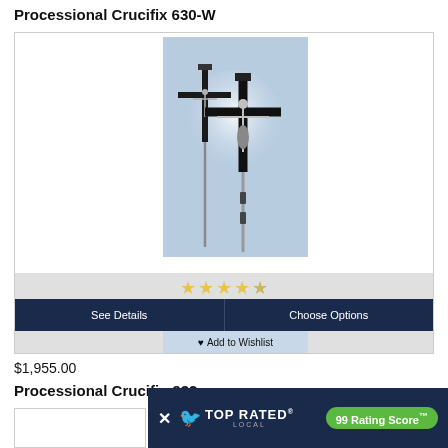Processional Crucifix 630-W
[Figure (photo): Two processional crucifixes (black and silver) on poles, displayed against a light blue background with a circular light glow effect. Star rating shown as 4 golden stars.]
See Details
Choose Options
♥ Add to Wishlist
$1,955.00
Processional Crucifix-932
[Figure (other): Top Rated Local badge with 99 Rating Score]
× TOP RATED LOCAL 99 Rating Score™